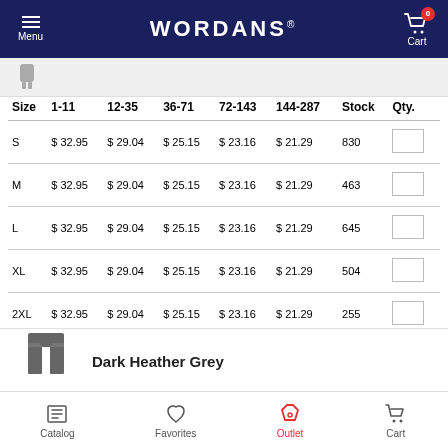WORDANS — Menu, Cart (0)
| Size | 1-11 | 12-35 | 36-71 | 72-143 | 144-287 | Stock | Qty. |
| --- | --- | --- | --- | --- | --- | --- | --- |
| S | $32.95 | $29.04 | $25.15 | $23.16 | $21.29 | 830 |  |
| M | $32.95 | $29.04 | $25.15 | $23.16 | $21.29 | 463 |  |
| L | $32.95 | $29.04 | $25.15 | $23.16 | $21.29 | 645 |  |
| XL | $32.95 | $29.04 | $25.15 | $23.16 | $21.29 | 504 |  |
| 2XL | $32.95 | $29.04 | $25.15 | $23.16 | $21.29 | 255 |  |
| 3XL | $42.08 | $37.08 | $32.10 | $29.58 | $27.19 | 0 | ⚠ |
[Figure (photo): Dark Heather Grey pants product thumbnail]
Dark Heather Grey
Catalog | Favorites | Outlet | Cart